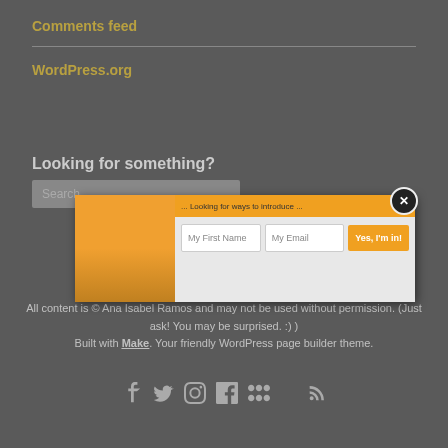Comments feed
WordPress.org
Looking for something?
[Figure (screenshot): A popup modal with orange header bar, an orange image panel on the left, and two input fields labeled 'My First Name' and 'My Email', plus an orange 'Yes, I'm in!' button. A close button (X) is in the upper right corner.]
All content is © Ana Isabel Ramos and may not be used without permission. (Just ask! You may be surprised. :) )
Built with Make. Your friendly WordPress page builder theme.
[Figure (infographic): Social media icons row: Behance, Twitter, Instagram, Facebook, Flickr, and RSS feed icons in light gray.]